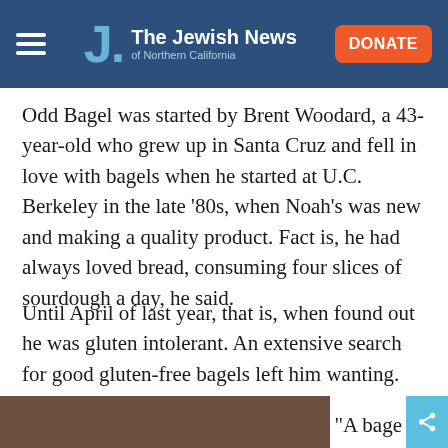The Jewish News of Northern California
Odd Bagel was started by Brent Woodard, a 43-year-old who grew up in Santa Cruz and fell in love with bagels when he started at U.C. Berkeley in the late ‘80s, when Noah’s was new and making a quality product. Fact is, he had always loved bread, consuming four slices of sourdough a day, he said.
Until April of last year, that is, when found out he was gluten intolerant. An extensive search for good gluten-free bagels left him wanting.
[Figure (photo): Partial photo visible at bottom of page]
“A bage